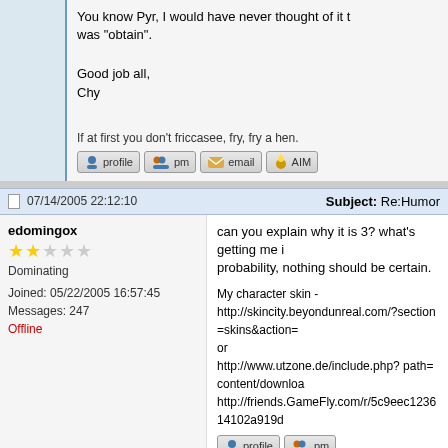You know Pyr, I would have never thought of it that way. My answer was "obtain".
Good job all,
Chy
If at first you don't friccasee, fry, fry a hen.
07/14/2005 22:12:10   Subject: Re:Humor
edomingox
Dominating
Joined: 05/22/2005 16:57:45
Messages: 247
Offline
can you explain why it is 3? what's getting me is probability, nothing should be certain.
My character skin -
http://skincity.beyondunreal.com/?section=skins&action=
or
http://www.utzone.de/include.php? path=content/downloa
http://friends.GameFly.com/r/5c9eec123614102a919d
07/15/2005 00:04:15   Subject: Re:Humor
Boingo_Babe
Wicked Girls
Hobo_Joe wrote: